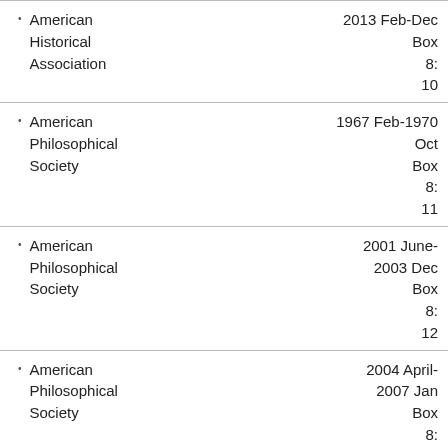American Historical Association, 2013 Feb-Dec, Box 8: 10
American Philosophical Society, 1967 Feb-1970 Oct, Box 8: 11
American Philosophical Society, 2001 June-2003 Dec, Box 8: 12
American Philosophical Society, 2004 April-2007 Jan, Box 8: 13
American Philosophical Society, 2009 April-2012 Nov